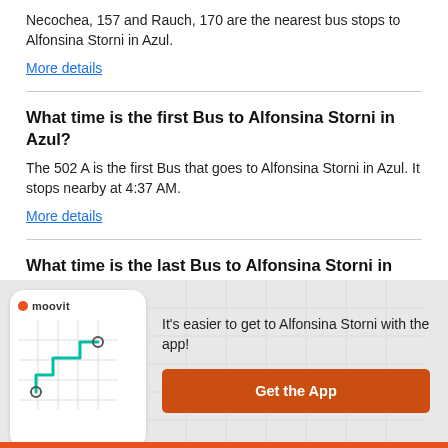Necochea, 157 and Rauch, 170 are the nearest bus stops to Alfonsina Storni in Azul.
More details
What time is the first Bus to Alfonsina Storni in Azul?
The 502 A is the first Bus that goes to Alfonsina Storni in Azul. It stops nearby at 4:37 AM.
More details
What time is the last Bus to Alfonsina Storni in Azul?
[Figure (screenshot): Moovit app promotional banner with phone screenshot showing a map route, and a 'Get the App' button]
It's easier to get to Alfonsina Storni with the app!